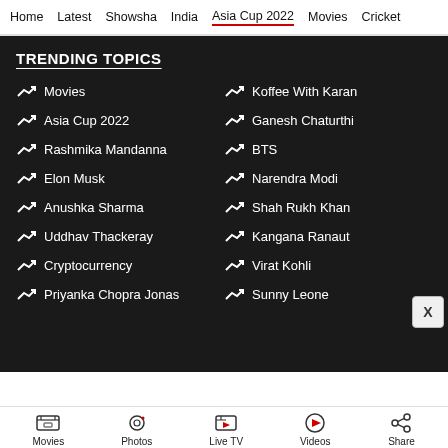Home | Latest | Showsha | India | Asia Cup 2022 | Movies | Cricket
TRENDING TOPICS
Movies
Koffee With Karan
Asia Cup 2022
Ganesh Chaturthi
Rashmika Mandanna
BTS
Elon Musk
Narendra Modi
Anushka Sharma
Shah Rukh Khan
Uddhav Thackeray
Kangana Ranaut
Cryptocurrency
Virat Kohli
Priyanka Chopra Jonas
Sunny Leone
Movies | Photos | Live TV | Videos | Share